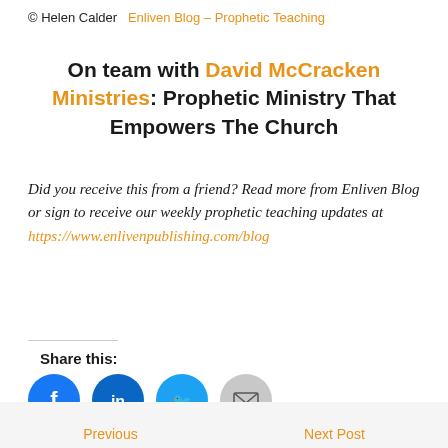© Helen Calder   Enliven Blog – Prophetic Teaching
On team with David McCracken Ministries: Prophetic Ministry That Empowers The Church
Did you receive this from a friend? Read more from Enliven Blog or sign to receive our weekly prophetic teaching updates at https://www.enlivenpublishing.com/blog
Share this:
[Figure (infographic): Four social sharing icon buttons: Facebook (blue circle), LinkedIn (blue circle), Twitter (cyan circle), Email (grey circle)]
Previous   Next Post